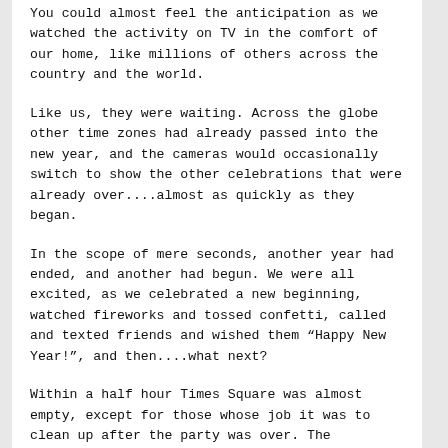You could almost feel the anticipation as we watched the activity on TV in the comfort of our home, like millions of others across the country and the world.
Like us, they were waiting. Across the globe other time zones had already passed into the new year, and the cameras would occasionally switch to show the other celebrations that were already over....almost as quickly as they began.
In the scope of mere seconds, another year had ended, and another had begun. We were all excited, as we celebrated a new beginning, watched fireworks and tossed confetti, called and texted friends and wished them “Happy New Year!”, and then....what next?
Within a half hour Times Square was almost empty, except for those whose job it was to clean up after the party was over. The celebrants had left, moving on to other parties to find another reason to celebrate, or going back to hotel rooms or homes, as the feeling of euphoria and excitement they’d just experienced slowly